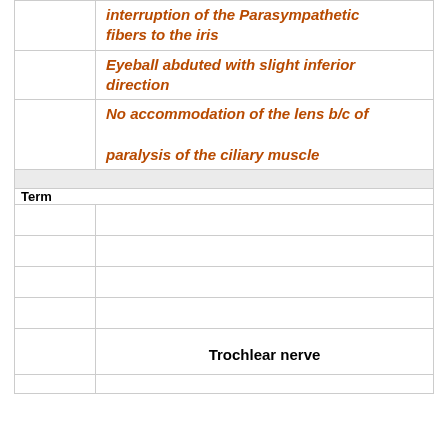| Term | Definition |
| --- | --- |
|  | interruption of the Parasympathetic fibers to the iris |
|  | Eyeball abduted with slight inferior direction |
|  | No accommodation of the lens b/c of paralysis of the ciliary muscle |
| Term |  |
|  |  |
|  |  |
|  |  |
|  | Trochlear nerve |
|  | CN IV |